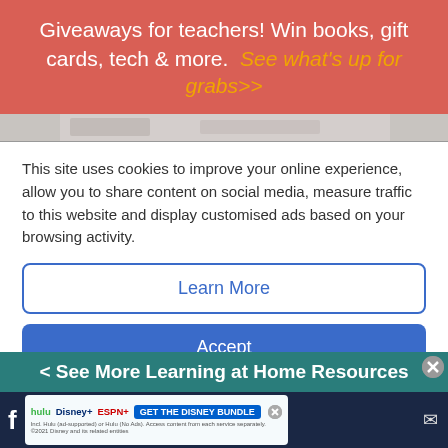Giveaways for teachers! Win books, gift cards, tech & more.  See what's up for grabs>>
[Figure (photo): Partial photo strip visible at top of page content area]
This site uses cookies to improve your online experience, allow you to share content on social media, measure traffic to this website and display customised ads based on your browsing activity.
Learn More
Accept
[Figure (photo): Partial image visible at bottom of page, teal/orange colors]
< See More Learning at Home Resources
[Figure (screenshot): Disney Bundle advertisement: hulu, Disney+, ESPN+ logos with GET THE DISNEY BUNDLE button and fine print]